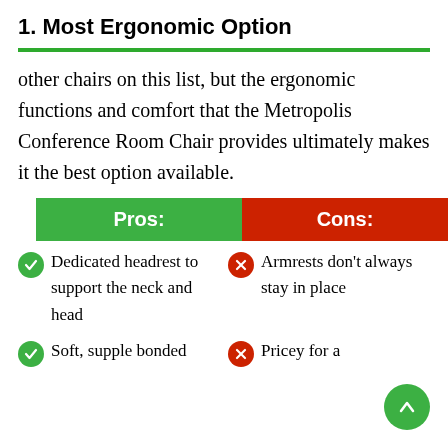1. Most Ergonomic Option
other chairs on this list, but the ergonomic functions and comfort that the Metropolis Conference Room Chair provides ultimately makes it the best option available.
| Pros: | Cons: |
| --- | --- |
| Dedicated headrest to support the neck and head | Armrests don't always stay in place |
| Soft, supple bonded | Pricey for a |